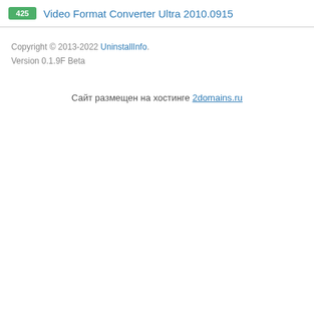425 Video Format Converter Ultra 2010.0915
Copyright © 2013-2022 UninstallInfo.
Version 0.1.9F Beta
Сайт размещен на хостинге 2domains.ru